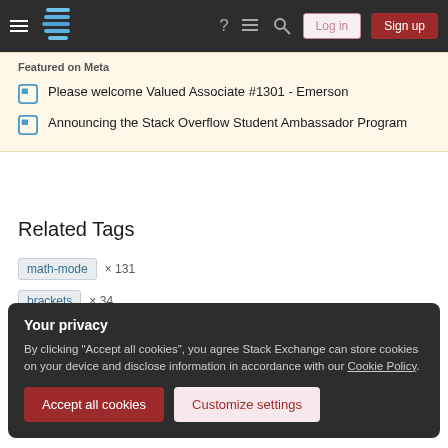Stack Exchange navigation bar with hamburger menu, logo, help, chat, search, Log in, Sign up buttons
Featured on Meta
Please welcome Valued Associate #1301 - Emerson
Announcing the Stack Overflow Student Ambassador Program
Related Tags
math-mode × 131
brackets × 34
Your privacy
By clicking "Accept all cookies", you agree Stack Exchange can store cookies on your device and disclose information in accordance with our Cookie Policy.
Accept all cookies | Customize settings